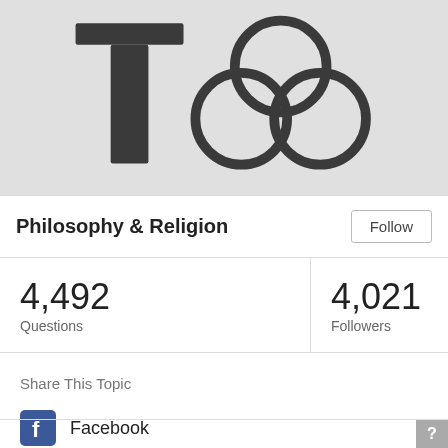[Figure (illustration): Gray banner with a large dark T symbol and a triquetra (trinity knot) symbol, representing Philosophy & Religion topic header]
Philosophy & Religion
| Questions | Followers |  |
| --- | --- | --- |
| 4,492 | 4,021 |  |
Share This Topic
Facebook
Twitter
Google+
?